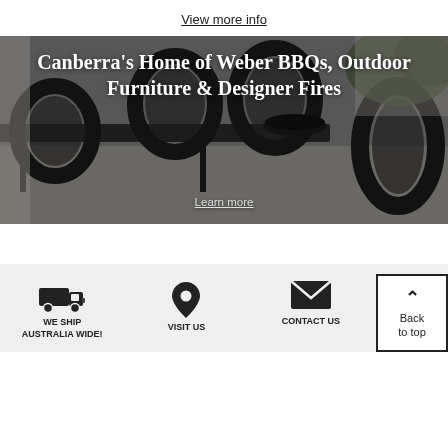View more info
[Figure (photo): Outdoor dining setting with dark wicker chairs around a dark table on a light terrace, with greenery in background. Overlaid text reads: Canberra's Home of Weber BBQs, Outdoor Furniture & Designer Fires. Learn more.]
[Figure (infographic): Footer strip with three icons and labels: truck icon (WE SHIP AUSTRALIA WIDE!), map pin icon (VISIT US), envelope icon (CONTACT US). Back to top button in bottom right corner.]